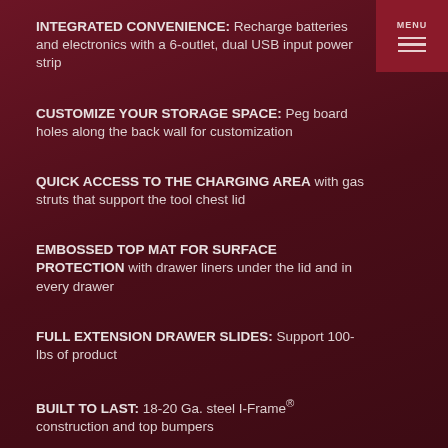MENU
INTEGRATED CONVENIENCE: Recharge batteries and electronics with a 6-outlet, dual USB input power strip
CUSTOMIZE YOUR STORAGE SPACE: Peg board holes along the back wall for customization
QUICK ACCESS TO THE CHARGING AREA with gas struts that support the tool chest lid
EMBOSSED TOP MAT FOR SURFACE PROTECTION with drawer liners under the lid and in every drawer
FULL EXTENSION DRAWER SLIDES: Support 100-lbs of product
BUILT TO LAST: 18-20 Ga. steel I-Frame® construction and top bumpers